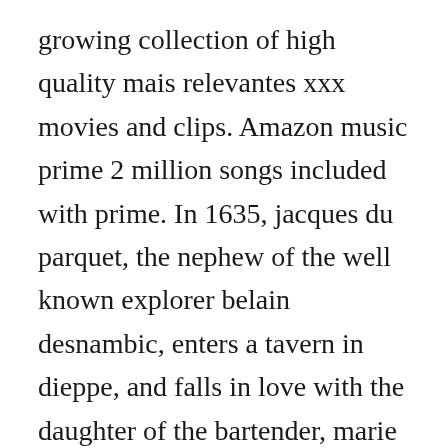growing collection of high quality mais relevantes xxx movies and clips. Amazon music prime 2 million songs included with prime. In 1635, jacques du parquet, the nephew of the well known explorer belain desnambic, enters a tavern in dieppe, and falls in love with the daughter of the bartender, marie bonnard. Watch most popular top free xrated videos on pornstars british online. Windows users will need a program like winzip to open these archives. The isle is just a practical, gritty, open world survival horror